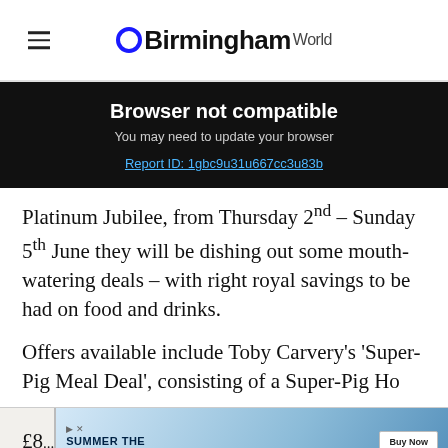BirminghamWorld
Browser not compatible
You may need to update your browser
Report ID: 1gbc9u31u667cc3u83b
Platinum Jubilee, from Thursday 2nd – Sunday 5th June they will be dishing out some mouth-watering deals – with right royal savings to be had on food and drinks.
Offers available include Toby Carvery's 'Super-Pig Meal Deal', consisting of a Super-Pig Ho... and Pu... £8... ty
[Figure (screenshot): Advertisement banner: Summer The Superior Way with Buy Now button and beer/burger imagery]